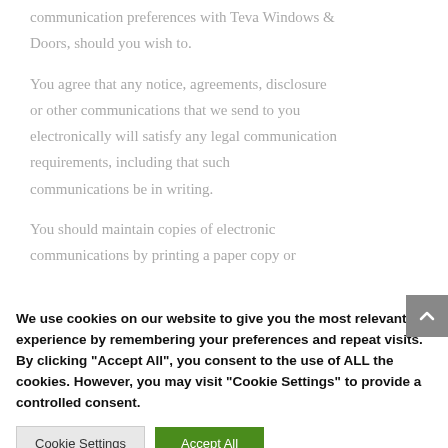communication preferences with Teva Windows & Doors, should you wish to.
You agree that any notice, agreements, disclosure or other communications that we send to you electronically will satisfy any legal communication requirements, including that such communications be in writing.
You should maintain copies of electronic communications by printing a paper copy or saving an electronic copy. We encourage recipients to avoid printing paper copies in the interests of protecting the environment. You also consent to receiving certain email communications from Teva Windows & Doors, such as newsletters, offers, promotional announcements via email or other methods, inline
We use cookies on our website to give you the most relevant experience by remembering your preferences and repeat visits. By clicking "Accept All", you consent to the use of ALL the cookies. However, you may visit "Cookie Settings" to provide a controlled consent.